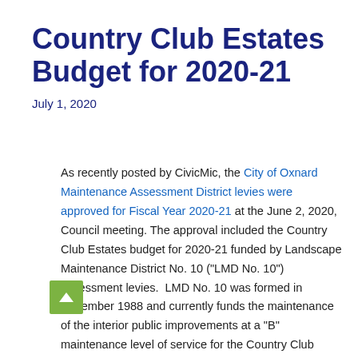Country Club Estates Budget for 2020-21
July 1, 2020
As recently posted by CivicMic, the City of Oxnard Maintenance Assessment District levies were approved for Fiscal Year 2020-21 at the June 2, 2020, Council meeting. The approval included the Country Club Estates budget for 2020-21 funded by Landscape Maintenance District No. 10 ("LMD No. 10") assessment levies. LMD No. 10 was formed in December 1988 and currently funds the maintenance of the interior public improvements at a "B" maintenance level of service for the Country Club Estates community. A "B" maintenance level of service means the improvements are maintained every 2 weeks. Please see the links below for a